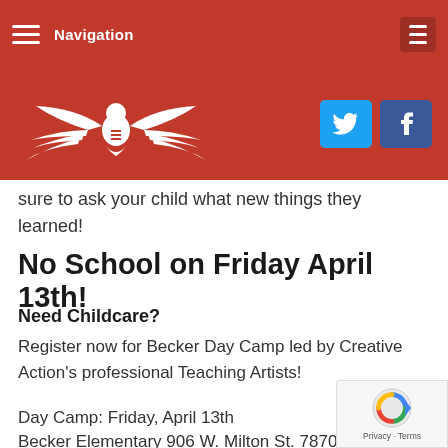Navigation
[Figure (logo): White eagle/bird logo on red background with Creative Action branding]
sure to ask your child what new things they learned!
No School on Friday April 13th!
Need Childcare?
Register now for Becker Day Camp led by Creative Action's professional Teaching Artists!
Day Camp: Friday, April 13th
Becker Elementary 906 W. Milton St. 78704